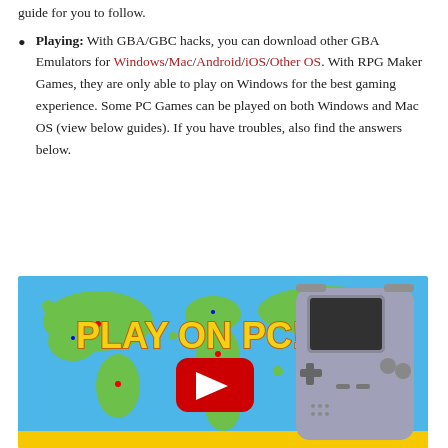guide for you to follow.
Playing: With GBA/GBC hacks, you can download other GBA Emulators for Windows/Mac/Android/iOS/Other OS. With RPG Maker Games, they are only able to play on Windows for the best gaming experience. Some PC Games can be played on both Windows and Mac OS (view below guides). If you have troubles, also find the answers below.
[Figure (screenshot): YouTube video thumbnail showing a Game Boy Advance device against a colorful world map background with text 'PLAY ON PC!' and a YouTube play button overlay]